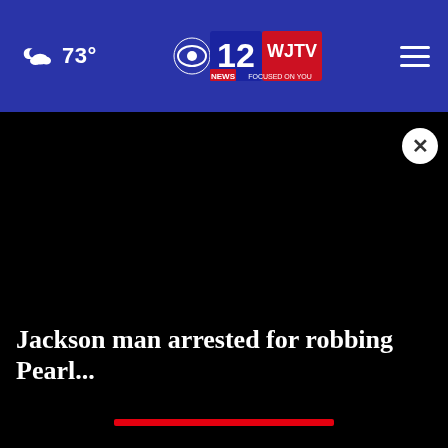73° WJTV 12 News Focused on You
[Figure (screenshot): Black video player area with a close (X) button in top right]
Jackson man arrested for robbing Pearl...